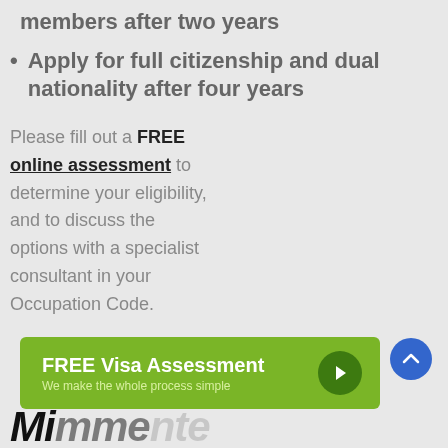members after two years
Apply for full citizenship and dual nationality after four years
Please fill out a FREE online assessment to determine your eligibility, and to discuss the options with a specialist consultant in your Occupation Code.
[Figure (other): Green CTA button with text 'FREE Visa Assessment' and subtext 'We make the whole process simple', with a dark green circular arrow icon on the right]
[Figure (other): Blue circular scroll-to-top button with upward chevron arrow]
Mi...